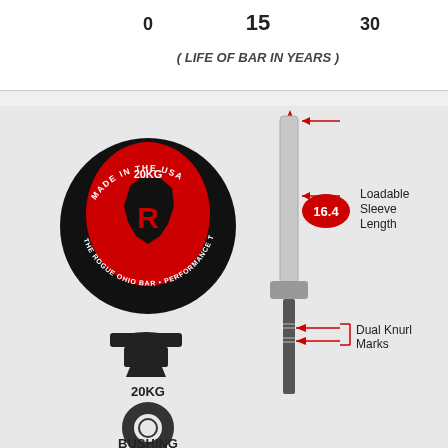[Figure (infographic): Top section showing life of bar in years axis with labels 0, 15, 30 and annotation (LIFE OF BAR IN YEARS)]
[Figure (infographic): Bottom section showing Rogue Ohio Bar infographic with circular red/black logo (MADE IN THE USA, 20KG, R, THE ROGUE OHIO BAR, PERFORMANCE TESTED), anvil icon with 20KG label, bushing icon with BUSHING label, a partial gear/circle icon, and a barbell sleeve diagram with red arrows indicating Loadable Sleeve Length labeled 16.4 and Dual Knurl Marks labels]